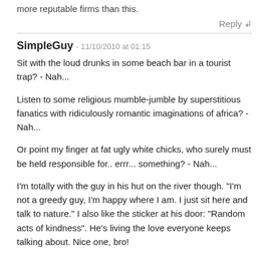more reputable firms than this.
Reply ↲
SimpleGuy - 11/10/2010 at 01:15
Sit with the loud drunks in some beach bar in a tourist trap? - Nah...
Listen to some religious mumble-jumble by superstitious fanatics with ridiculously romantic imaginations of africa? - Nah...
Or point my finger at fat ugly white chicks, who surely must be held responsible for.. errr... something? - Nah...
I'm totally with the guy in his hut on the river though. "I'm not a greedy guy, I'm happy where I am. I just sit here and talk to nature." I also like the sticker at his door: "Random acts of kindness". He's living the love everyone keeps talking about. Nice one, bro!